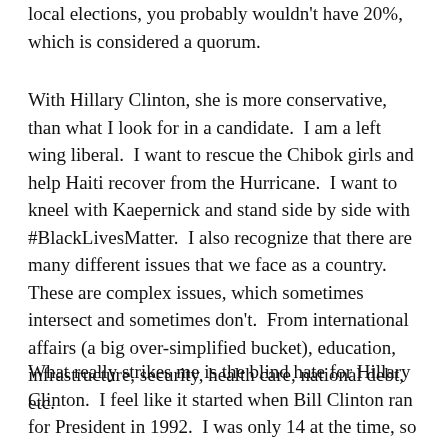local elections, you probably wouldn't have 20%, which is considered a quorum.
With Hillary Clinton, she is more conservative, than what I look for in a candidate.  I am a left wing liberal.  I want to rescue the Chibok girls and help Haiti recover from the Hurricane.  I want to kneel with Kaepernick and stand side by side with #BlackLivesMatter.  I also recognize that there are many different issues that we face as a country.  These are complex issues, which sometimes intersect and sometimes don't.  From international affairs (a big over-simplified bucket), education, infrastructure, security, health care, national debt, etc.
What really strikes me is the blind hate for Hillary Clinton.  I feel like it started when Bill Clinton ran for President in 1992.  I was only 14 at the time, so